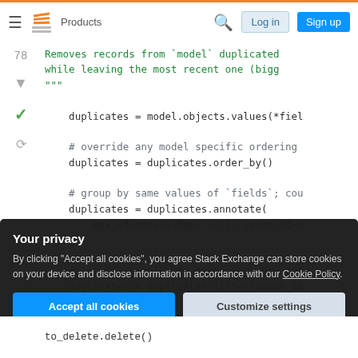Stack Exchange navigation bar with hamburger menu, logo, Products, search, Log in, Sign up
[Figure (screenshot): Stack Exchange website screenshot showing Python code for removing duplicate records from a model, with vote controls on the left sidebar and a privacy cookie consent overlay at the bottom]
Your privacy
By clicking "Accept all cookies", you agree Stack Exchange can store cookies on your device and disclose information in accordance with our Cookie Policy.
Accept all cookies   Customize settings